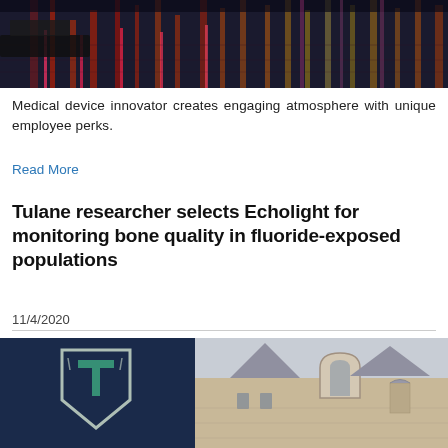[Figure (photo): Nighttime waterfront scene with colorful pink and warm reflections on water from lit structures or buildings along a dock or marina.]
Medical device innovator creates engaging atmosphere with unique employee perks.
Read More
Tulane researcher selects Echolight for monitoring bone quality in fluoride-exposed populations
11/4/2020
[Figure (photo): Tulane University campus image showing the Tulane shield logo on a dark blue banner on the left, and a historic stone building with arched windows on the right.]